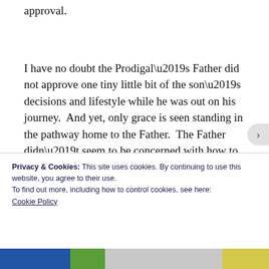approval.
I have no doubt the Prodigal’s Father did not approve one tiny little bit of the son’s decisions and lifestyle while he was out on his journey.  And yet, only grace is seen standing in the pathway home to the Father.  The Father didn’t seem to be concerned with how to extend acceptance while withholding approval.
Privacy & Cookies: This site uses cookies. By continuing to use this website, you agree to their use.
To find out more, including how to control cookies, see here: Cookie Policy
Close and accept